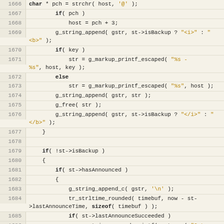[Figure (screenshot): Source code listing showing C code lines 1666-1691 with line numbers in left gutter on beige background. Code includes function calls like g_string_append, g_markup_printf_escaped, g_free, g_string_append_c, tr_strltime_rounded, g_string_append_printf with string literals highlighted in orange/gold.]